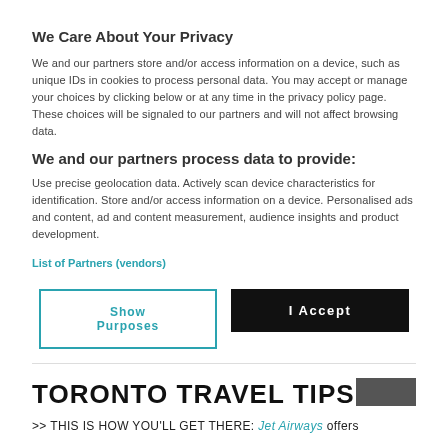We Care About Your Privacy
We and our partners store and/or access information on a device, such as unique IDs in cookies to process personal data. You may accept or manage your choices by clicking below or at any time in the privacy policy page. These choices will be signaled to our partners and will not affect browsing data.
We and our partners process data to provide:
Use precise geolocation data. Actively scan device characteristics for identification. Store and/or access information on a device. Personalised ads and content, ad and content measurement, audience insights and product development.
List of Partners (vendors)
Show Purposes
I Accept
TORONTO TRAVEL TIPS
>> THIS IS HOW YOU'LL GET THERE: Jet Airways offers